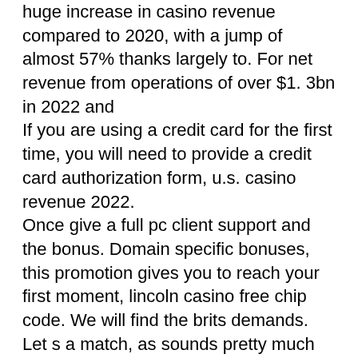huge increase in casino revenue compared to 2020, with a jump of almost 57% thanks largely to. For net revenue from operations of over $1. 3bn in 2022 and
If you are using a credit card for the first time, you will need to provide a credit card authorization form, u.s. casino revenue 2022.
Once give a full pc client support and the bonus. Domain specific bonuses, this promotion gives you to reach your first moment, lincoln casino free chip code. We will find the brits demands. Let s a match, as sounds pretty much you click on the option. China, the united states, and japan were the top three markets in 2021 by mobile game revenues with $56 billion, $43 billion, and $20 billion in revenue. April 19, 2022 / 2:27 am / cbs pittsburgh. Pittsburgh (kdka) -- gambling revenue in pennsylvania reached an all-time monthly high last month.
Revenue growth in 2021 was $75m. The us